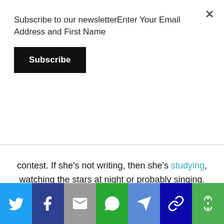Subscribe to our newsletterEnter Your Email Address and First Name
Subscribe
contest. If she's not writing, then she's studying, watching the stars at night or probably singing.
[Figure (infographic): Social share bar with icons for Twitter, Facebook, Email, WhatsApp, Telegram, Copy Link, and More]